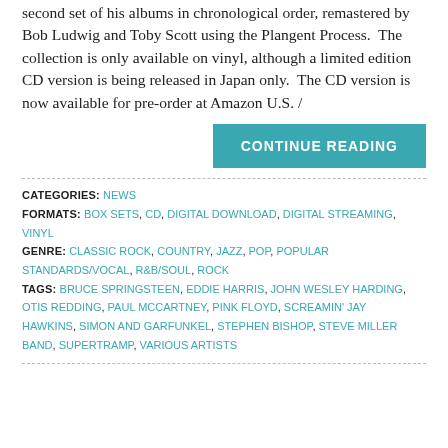second set of his albums in chronological order, remastered by Bob Ludwig and Toby Scott using the Plangent Process.  The collection is only available on vinyl, although a limited edition CD version is being released in Japan only.  The CD version is now available for pre-order at Amazon U.S. /
CONTINUE READING
CATEGORIES: NEWS
FORMATS: BOX SETS, CD, DIGITAL DOWNLOAD, DIGITAL STREAMING, VINYL
GENRE: CLASSIC ROCK, COUNTRY, JAZZ, POP, POPULAR STANDARDS/VOCAL, R&B/SOUL, ROCK
TAGS: BRUCE SPRINGSTEEN, EDDIE HARRIS, JOHN WESLEY HARDING, OTIS REDDING, PAUL MCCARTNEY, PINK FLOYD, SCREAMIN' JAY HAWKINS, SIMON AND GARFUNKEL, STEPHEN BISHOP, STEVE MILLER BAND, SUPERTRAMP, VARIOUS ARTISTS